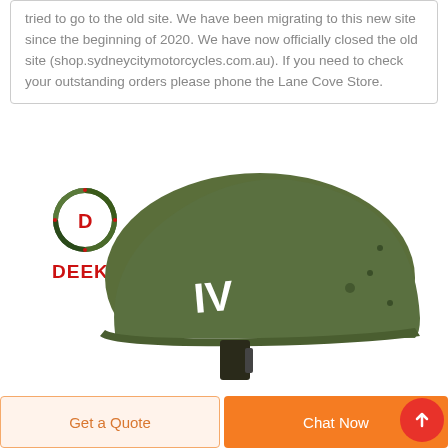tried to go to the old site. We have been migrating to this new site since the beginning of 2020. We have now officially closed the old site (shop.sydneycitymotorcycles.com.au). If you need to check your outstanding orders please phone the Lane Cove Store.
[Figure (photo): Deekon brand military/tactical helmet in olive green color, with white 'IV' marking, shown in profile on white background. Deekon logo (circular camouflage design with letter D) and red DEEKON text visible in upper left.]